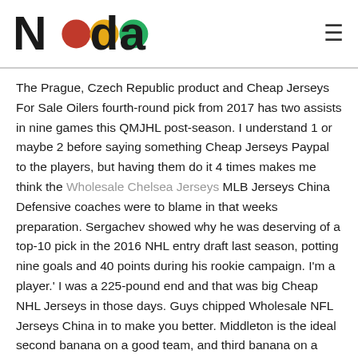Nada [logo with colored circles]
The Prague, Czech Republic product and Cheap Jerseys For Sale Oilers fourth-round pick from 2017 has two assists in nine games this QMJHL post-season. I understand 1 or maybe 2 before saying something Cheap Jerseys Paypal to the players, but having them do it 4 times makes me think the Wholesale Chelsea Jerseys MLB Jerseys China Defensive coaches were to blame in that weeks preparation. Sergachev showed why he was deserving of a top-10 pick in the 2016 NHL entry draft last season, potting nine goals and 40 points during his rookie campaign. I'm a player.' I was a 225-pound end and that was big Cheap NHL Jerseys in those days. Guys chipped Wholesale NFL Jerseys China in to make you better. Middleton is the ideal second banana on a good team, and third banana on a great one. So as far as the Colts' free agents that remain unsigned, wide receiver Dontrelle Inman really remains the only one that